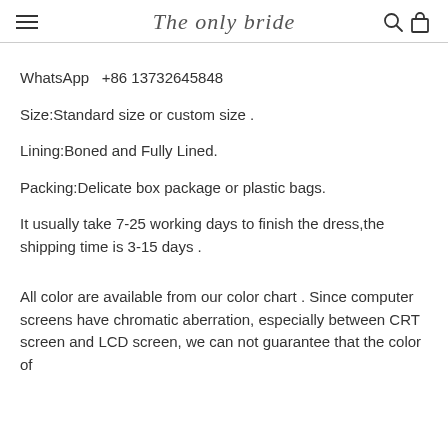The only bride
WhatsApp  +86 13732645848
Size:Standard size or custom size .
Lining:Boned and Fully Lined.
Packing:Delicate box package or plastic bags.
It usually take 7-25 working days to finish the dress,the shipping time is 3-15 days .
All color are available from our color chart . Since computer screens have chromatic aberration, especially between CRT screen and LCD screen, we can not guarantee that the color of